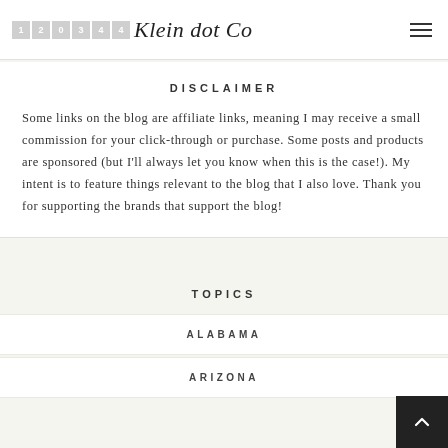Klein dot Co
DISCLAIMER
Some links on the blog are affiliate links, meaning I may receive a small commission for your click-through or purchase. Some posts and products are sponsored (but I'll always let you know when this is the case!). My intent is to feature things relevant to the blog that I also love. Thank you for supporting the brands that support the blog!
TOPICS
ALABAMA
ARIZONA